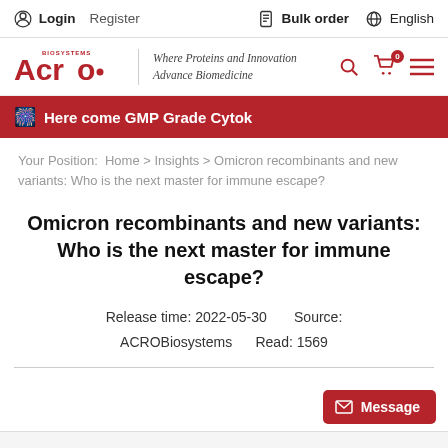Login  Register  Bulk order  English
[Figure (logo): ACROBiosystems logo with tagline: Where Proteins and Innovation Advance Biomedicine]
Here come GMP Grade Cytok
Your Position: Home > Insights > Omicron recombinants and new variants: Who is the next master for immune escape?
Omicron recombinants and new variants: Who is the next master for immune escape?
Release time: 2022-05-30   Source: ACROBiosystems   Read: 1569